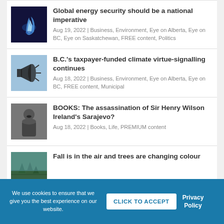Global energy security should be a national imperative
Aug 19, 2022 | Business, Environment, Eye on Alberta, Eye on BC, Eye on Saskatchewan, FREE content, Politics
B.C.'s taxpayer-funded climate virtue-signalling continues
Aug 18, 2022 | Business, Environment, Eye on Alberta, Eye on BC, FREE content, Municipal
BOOKS: The assassination of Sir Henry Wilson Ireland's Sarajevo?
Aug 18, 2022 | Books, Life, PREMIUM content
Fall is in the air and trees are changing colour
We use cookies to ensure that we give you the best experience on our website.
CLICK TO ACCEPT
Privacy Policy